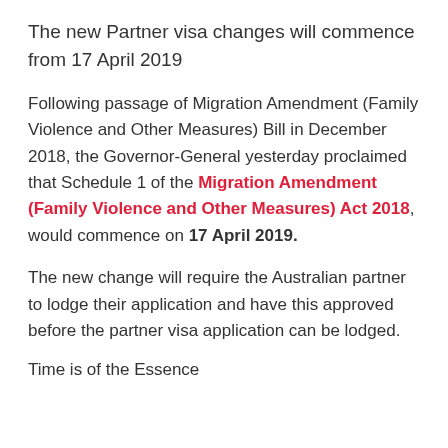The new Partner visa changes will commence from 17 April 2019
Following passage of Migration Amendment (Family Violence and Other Measures) Bill in December 2018, the Governor-General yesterday proclaimed that Schedule 1 of the Migration Amendment (Family Violence and Other Measures) Act 2018, would commence on 17 April 2019.
The new change will require the Australian partner to lodge their application and have this approved before the partner visa application can be lodged.
Time is of the Essence